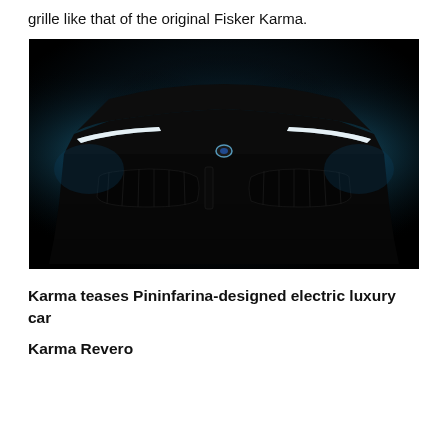grille like that of the original Fisker Karma.
[Figure (photo): Dark teaser photo of a luxury electric car (Karma Revero) from the front, showing illuminated headlight strips and a centered badge, against a dark blue-black background.]
Karma teases Pininfarina-designed electric luxury car
Karma Revero